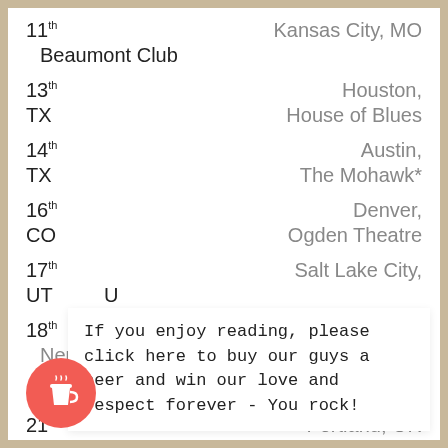11th  Kansas City, MO  Beaumont Club
13th  Houston, TX  House of Blues
14th  Austin, TX  The Mohawk*
16th  Denver, CO  Ogden Theatre
17th  Salt Lake City, UT  U
18th  Neurolux*
20th  x S
21st  Portland, OR  Crystal Ballroom
If you enjoy reading, please click here to buy our guys a beer and win our love and respect forever - You rock!